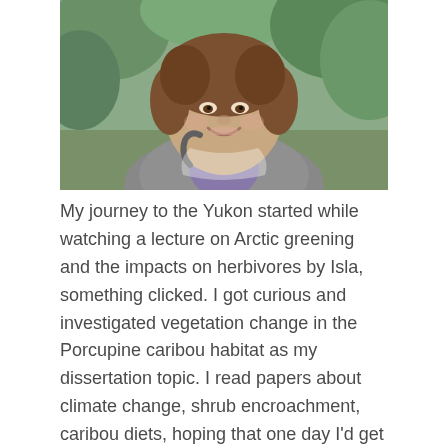[Figure (photo): Portrait photo of a young woman smiling, wearing a grey fleece jacket with a backpack, outdoors in a green natural setting]
My journey to the Yukon started while watching a lecture on Arctic greening and the impacts on herbivores by Isla, something clicked. I got curious and investigated vegetation change in the Porcupine caribou habitat as my dissertation topic. I read papers about climate change, shrub encroachment, caribou diets, hoping that one day I'd get the chance to see a real caribou! Luckily, a job opportunity from Team Shrub popped up: a call for field